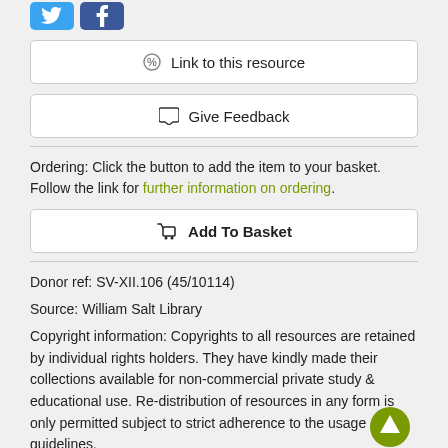[Figure (logo): Twitter and Facebook social share buttons]
Link to this resource
Give Feedback
Ordering: Click the button to add the item to your basket. Follow the link for further information on ordering.
Add To Basket
Donor ref: SV-XII.106 (45/10114)
Source: William Salt Library
Copyright information: Copyrights to all resources are retained by individual rights holders. They have kindly made their collections available for non-commercial private study & educational use. Re-distribution of resources in any form is only permitted subject to strict adherence to the usage guidelines.